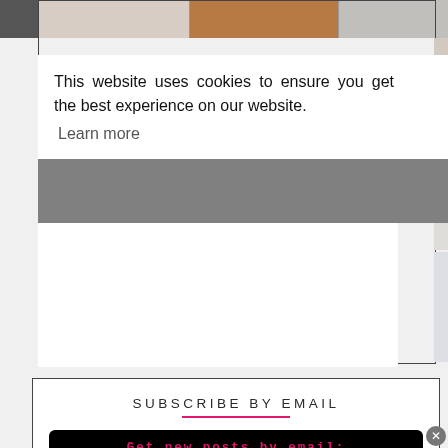[Figure (photo): Three partial photo thumbnails of interior/exterior home scenes in a horizontal strip at the top]
This website uses cookies to ensure you get the best experience on our website. Learn more
Got it!
SUBSCRIBE BY EMAIL
Get new posts by email:
Enter your email